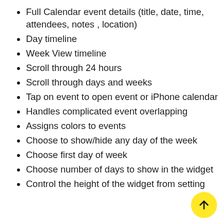Full Calendar event details (title, date, time, attendees, notes , location)
Day timeline
Week View timeline
Scroll through 24 hours
Scroll through days and weeks
Tap on event to open event or iPhone calendar
Handles complicated event overlapping
Assigns colors to events
Choose to show/hide any day of the week
Choose first day of week
Choose number of days to show in the widget
Control the height of the widget from setting